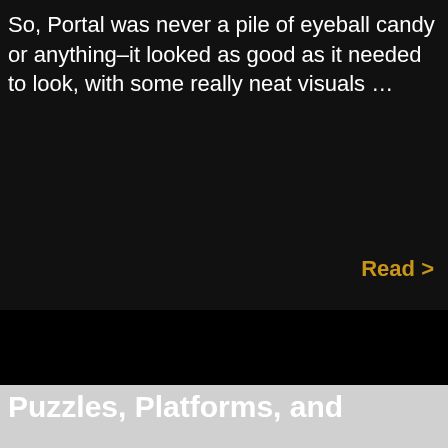So, Portal was never a pile of eyeball candy or anything–it looked as good as it needed to look, with some really neat visuals …
Read >
Puzzles, Platforms, and